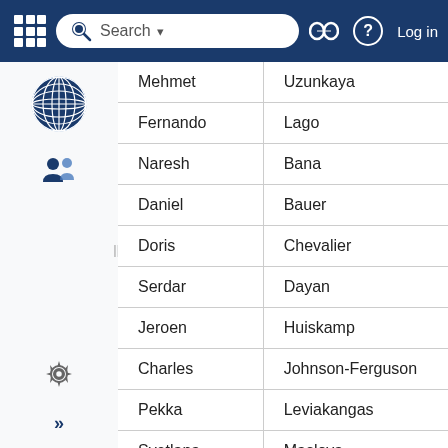| Mehmet | Uzunkaya |
| Fernando | Lago |
| Naresh | Bana |
| Daniel | Bauer |
| Doris | Chevalier |
| Serdar | Dayan |
| Jeroen | Huiskamp |
| Charles | Johnson-Ferguson |
| Pekka | Leviakangas |
| Svetlana | Maslova |
| Suresh Chand | Mittal |
| Andrey | Yushkov |